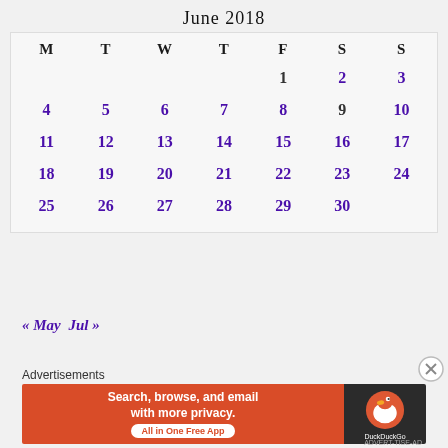June 2018
| M | T | W | T | F | S | S |
| --- | --- | --- | --- | --- | --- | --- |
|  |  |  |  | 1 | 2 | 3 |
| 4 | 5 | 6 | 7 | 8 | 9 | 10 |
| 11 | 12 | 13 | 14 | 15 | 16 | 17 |
| 18 | 19 | 20 | 21 | 22 | 23 | 24 |
| 25 | 26 | 27 | 28 | 29 | 30 |  |
« May  Jul »
Advertisements
[Figure (infographic): DuckDuckGo advertisement banner: 'Search, browse, and email with more privacy. All in One Free App' with DuckDuckGo logo on dark background.]